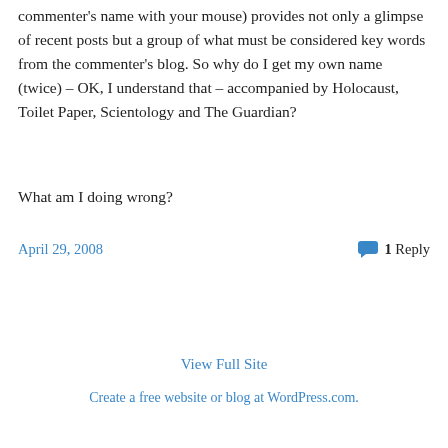commenter's name with your mouse) provides not only a glimpse of recent posts but a group of what must be considered key words from the commenter's blog. So why do I get my own name (twice) – OK, I understand that – accompanied by Holocaust, Toilet Paper, Scientology and The Guardian?
What am I doing wrong?
April 29, 2008
1 Reply
View Full Site
Create a free website or blog at WordPress.com.